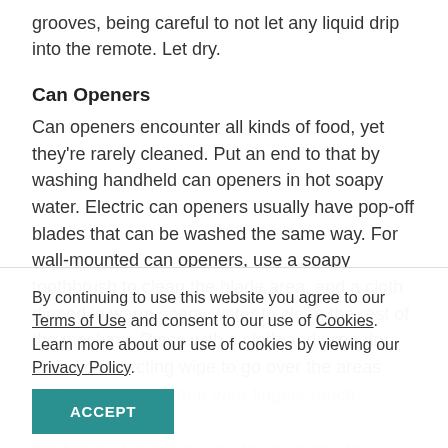grooves, being careful to not let any liquid drip into the remote. Let dry.
Can Openers
Can openers encounter all kinds of food, yet they're rarely cleaned. Put an end to that by washing handheld can openers in hot soapy water. Electric can openers usually have pop-off blades that can be washed the same way. For wall-mounted can openers, use a soapy toothbrush to clean the blade area, and a cloth dipped in warm soapy water to clean the rest of the machine. Rinse with a cloth and wipe dry. Use a disinfecting wipe to go over the areas of the can opener that your fingers touch.
Light Switches
the first and last thing you touch every day. Make sure they're sterile with these instructions. First, use
By continuing to use this website you agree to our Terms of Use and consent to our use of Cookies. Learn more about our use of cookies by viewing our Privacy Policy.
ACCEPT